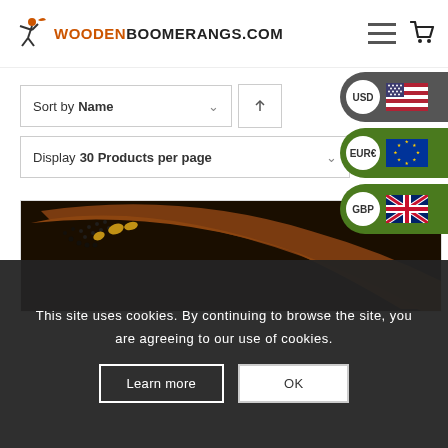[Figure (logo): WoodenBoomerangs.com logo with silhouette of person throwing boomerang]
[Figure (screenshot): Navigation icons: hamburger menu and shopping cart]
[Figure (infographic): Currency selector sidebar showing USD with US flag, EUR E with EU flag, GBP with UK flag]
Sort by Name
Display 30 Products per page
[Figure (photo): Close-up photo of a decorated wooden boomerang with Aboriginal dot art patterns in gold and brown tones]
This site uses cookies. By continuing to browse the site, you are agreeing to our use of cookies.
Learn more
OK